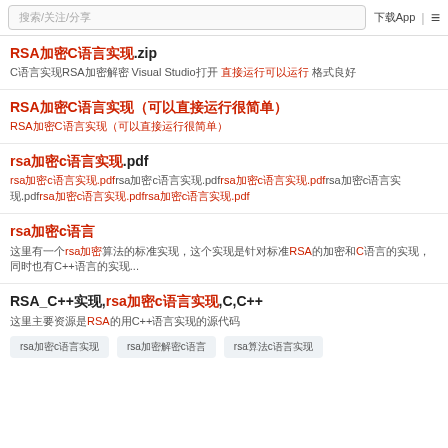搜索/关注/分享 | 下载App | ≡
RSA加密C语言实现.zip
C语言实现RSA加密解密 Visual Studio打开 直接运行可以运行 格式良好
RSA加密C语言实现（可以直接运行很简单）
RSA加密C语言实现（可以直接运行很简单）
rsa加密c语言实现.pdf
rsa加密c语言实现.pdfrsa加密c语言实现.pdfrsa加密c语言实现.pdfrsa加密c语言实现.pdfrsa加密c语言实现.pdfrsa加密c语言实现.pdf
rsa加密c语言
这里有一个rsa加密算法的标准实现，这个实现是针对标准RSA的加密和C语言的实现，同时也有C++语言的实现...
RSA_C++实现,rsa加密c语言实现,C,C++
这里主要资源是RSA的用C++语言实现的源代码
rsa加密c语言实现
rsa加密解密c语言
rsa算法c语言实现